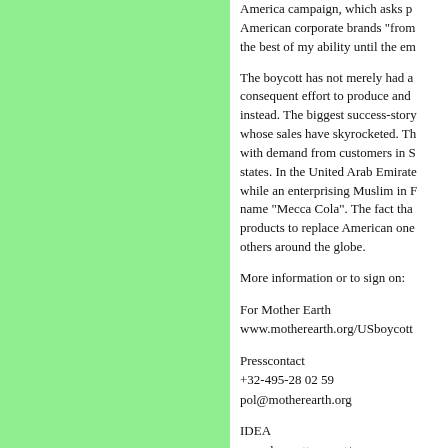[Figure (other): Green rectangle panel on the left side of the page]
America campaign, which asks people to avoid American corporate brands "from" the best of my ability until the em...
The boycott has not merely had a consequent effort to produce and instead. The biggest success-story whose sales have skyrocketed. Th with demand from customers in S states. In the United Arab Emirate while an enterprising Muslim in P name "Mecca Cola". The fact tha products to replace American one others around the globe.
More information or to sign on:
For Mother Earth
www.motherearth.org/USboycott
Presscontact
+32-495-28 02 59
pol@motherearth.org
IDEA
www.boycottwar.net/